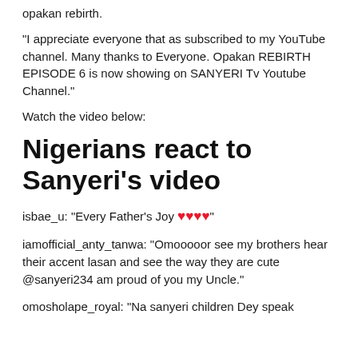opakan rebirth.
“I appreciate everyone that as subscribed to my YouTube channel. Many thanks to Everyone. Opakan REBIRTH EPISODE 6 is now showing on SANYERI Tv Youtube Channel.”
Watch the video below:
Nigerians react to Sanyeri’s video
isbae_u: “Every Father’s Joy ❤️❤️❤️❤️”
iamofficial_anty_tanwa: “Omooooor see my brothers hear their accent lasan and see the way they are cute @sanyeri234 am proud of you my Uncle.”
omosholape_royal: “Na sanyeri children Dey speak